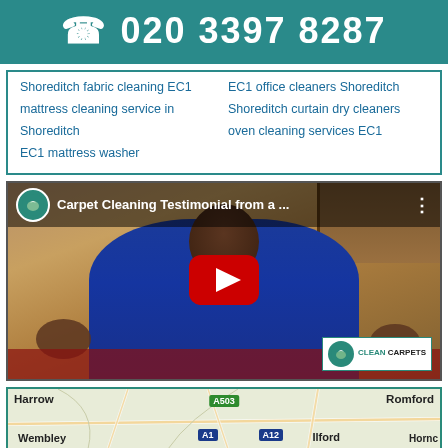☎ 020 3397 8287
Shoreditch fabric cleaning EC1
EC1 office cleaners Shoreditch
mattress cleaning service in Shoreditch
Shoreditch curtain dry cleaners
EC1 mattress washer
oven cleaning services EC1
[Figure (screenshot): YouTube video thumbnail showing a man in a blue Superdry hoodie with title 'Carpet Cleaning Testimonial from a ...' and a red play button in the center. Clean Carpets logo visible in bottom right corner.]
[Figure (map): Google Maps screenshot showing London area with labels for Harrow, Wembley, Romford, Hornchurch, Ilford, and road labels A1, A12, A503.]